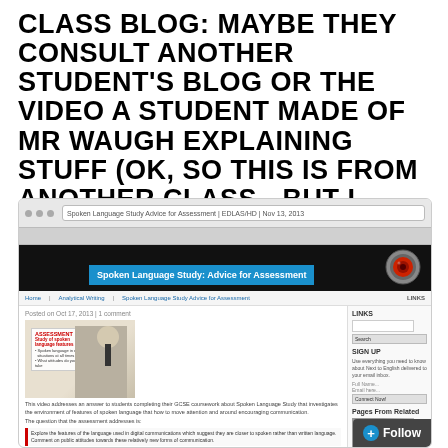CLASS BLOG: MAYBE THEY CONSULT ANOTHER STUDENT'S BLOG OR THE VIDEO A STUDENT MADE OF MR WAUGH EXPLAINING STUFF (OK, SO THIS IS FROM ANOTHER CLASS - BUT I WANTED TO SHOW YOU):
[Figure (screenshot): Screenshot of a blog webpage titled 'Spoken Language Study: Advice for Assessment' showing a teacher (Mr Waugh) in a video still with assessment overlay text, blog post content, sidebar with search and follow button, and a HAL 9000 eye logo]